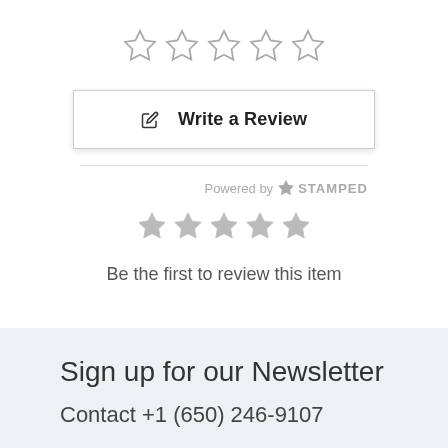[Figure (other): Five empty star rating icons in a row (outline stars, grey color)]
✎  Write a Review
Powered by ✦ STAMPED
[Figure (other): Five filled grey star icons in a row]
Be the first to review this item
Sign up for our Newsletter
Contact +1 (650) 246-9107